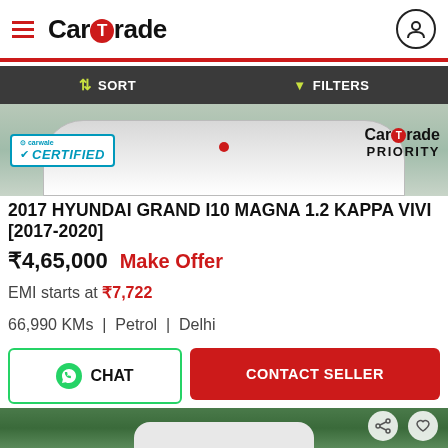CarTrade
SORT  FILTERS
[Figure (photo): Front view of a white Hyundai Grand i10 car, partially visible, grey background]
2017 HYUNDAI GRAND I10 MAGNA 1.2 KAPPA VIVI [2017-2020]
₹4,65,000  Make Offer
EMI starts at ₹7,722
66,990 KMs  |  Petrol  |  Delhi
[Figure (photo): Front top view of a white Hyundai car parked outdoors with trees in the background]